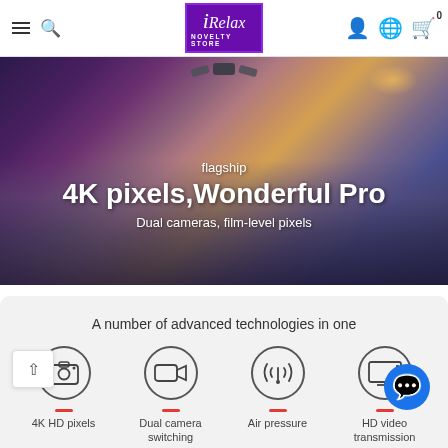iRelax NOVELTY STORE - Navigation bar with hamburger menu, search, logo, user icon, globe icon, cart (0)
[Figure (photo): Hero banner showing a drone flying over a snowy landscape with sunset sky. Text overlay reads: flagship / 4K pixels,Wonderful Pro / Dual cameras, film-level pixels]
flagship
4K pixels,Wonderful Pro
Dual cameras, film-level pixels
A number of advanced technologies in one
[Figure (infographic): Four feature icons in circles: camera (4K HD pixels), video camera (Dual camera switching), signal waves (Air pressure), monitor (HD video transmission)]